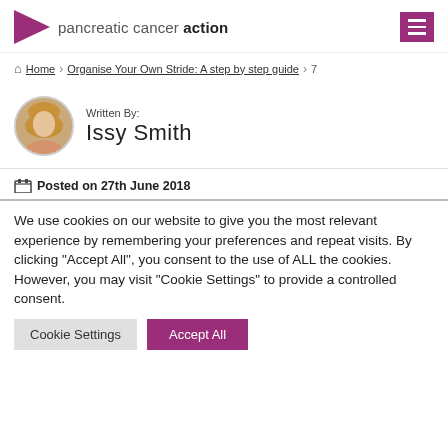pancreatic cancer action
Home > Organise Your Own Stride: A step by step guide > 7
[Figure (photo): Circular profile photo of author Issy Smith]
Written By: Issy Smith
Posted on 27th June 2018
We use cookies on our website to give you the most relevant experience by remembering your preferences and repeat visits. By clicking "Accept All", you consent to the use of ALL the cookies. However, you may visit "Cookie Settings" to provide a controlled consent.
Cookie Settings | Accept All